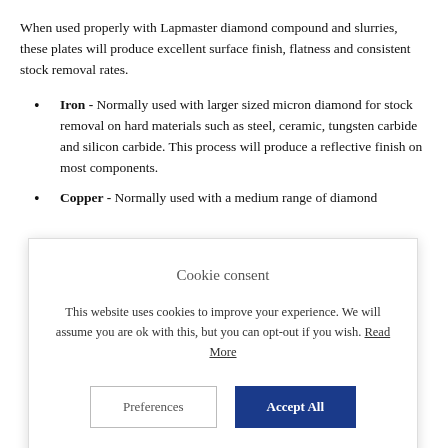When used properly with Lapmaster diamond compound and slurries, these plates will produce excellent surface finish, flatness and consistent stock removal rates.
Iron - Normally used with larger sized micron diamond for stock removal on hard materials such as steel, ceramic, tungsten carbide and silicon carbide. This process will produce a reflective finish on most components.
Copper - Normally used with a medium range of diamond
[Figure (screenshot): Cookie consent dialog overlay with title 'Cookie consent', body text about cookies, a 'Preferences' button and an 'Accept All' button.]
Ceramic - This is the hardest plate available on the